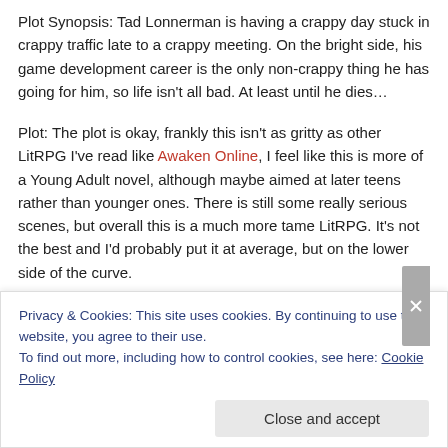Plot Synopsis: Tad Lonnerman is having a crappy day stuck in crappy traffic late to a crappy meeting. On the bright side, his game development career is the only non-crappy thing he has going for him, so life isn't all bad. At least until he dies…
Plot: The plot is okay, frankly this isn't as gritty as other LitRPG I've read like Awaken Online, I feel like this is more of a Young Adult novel, although maybe aimed at later teens rather than younger ones. There is still some really serious scenes, but overall this is a much more tame LitRPG. It's not the best and I'd probably put it at average, but on the lower side of the curve.
Characters: Tad is a pretty decent main character, but there are things I wouldn't have done that he does. The rest of the
Privacy & Cookies: This site uses cookies. By continuing to use this website, you agree to their use.
To find out more, including how to control cookies, see here: Cookie Policy